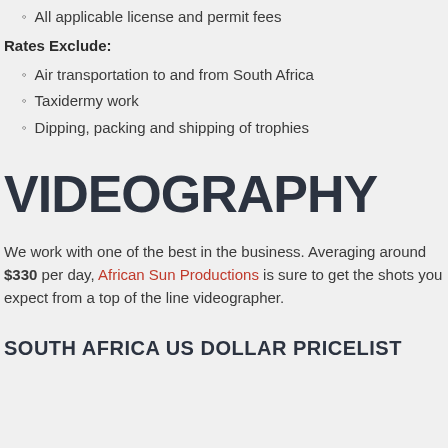All applicable license and permit fees
Rates Exclude:
Air transportation to and from South Africa
Taxidermy work
Dipping, packing and shipping of trophies
VIDEOGRAPHY
We work with one of the best in the business. Averaging around $330 per day, African Sun Productions is sure to get the shots you expect from a top of the line videographer.
SOUTH AFRICA US DOLLAR PRICELIST